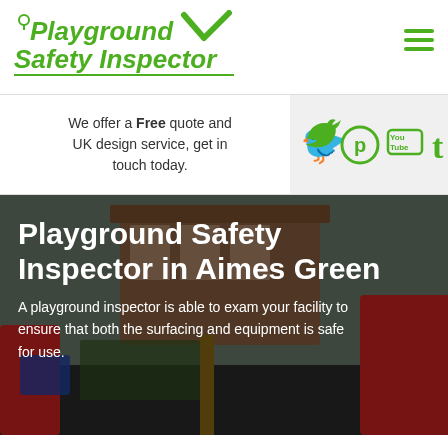[Figure (logo): Playground Safety Inspector logo with green checkmark and location pin icon, italic bold green text]
We offer a Free quote and UK design service, get in touch today.
[Figure (infographic): Social media icons: Twitter, Pinterest, YouTube, Tumblr in green]
Playground Safety Inspector in Aimes Green
A playground inspector is able to exam your facility to ensure that both the surfacing and equipment is safe for use.